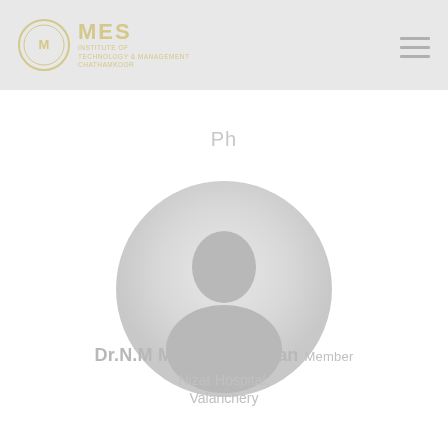MES INSTITUTE OF TECHNOLOGY & MANAGEMENT CHATHAMKOOR
Ph
[Figure (photo): Circular profile photo placeholder, light gray/white gradient circle]
Dr.N.M Mujeeb Rahman Member
Nizar Hospital, Valanchery